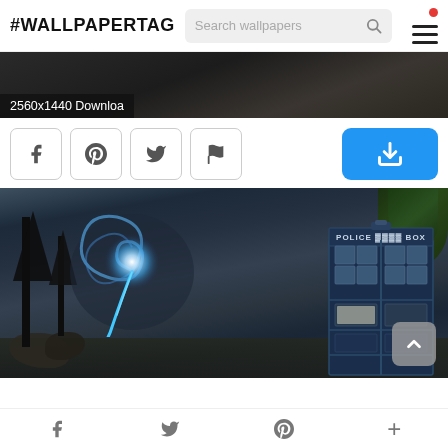#WALLPAPERTAG
[Figure (screenshot): Dark wallpaper image strip showing a dark interior scene, partially visible, with text overlay showing '2560x1440 Downloa']
2560x1440 Downloa
[Figure (screenshot): Row of social sharing buttons: Facebook, Pinterest, Twitter, Flag/report icons in bordered square buttons, and a blue download button with download arrow icon]
[Figure (photo): Doctor Who TARDIS wallpaper showing a mystical forest scene with a glowing blue-white swirling vortex/portal and a blue Police Box (TARDIS) on the right side against a dark stormy sky with dead trees]
f  (Twitter bird)  P  +